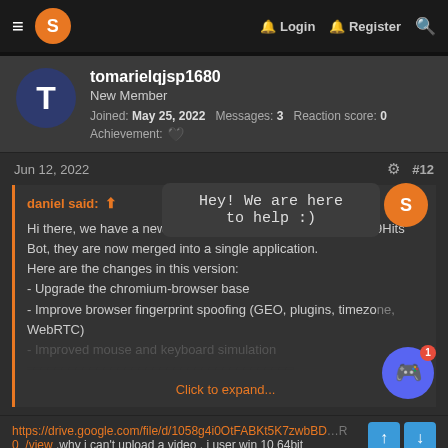≡ [logo] Login Register [search]
tomarielqjsp1680
New Member
Joined: May 25, 2022  Messages: 3  Reaction score: 0
Achievement: [heart]
Jun 12, 2022  #12
daniel said: ↑
Hey! We are here to help :)
Hi there, we have a new version of the 9Hits Viewer and the 9Hits Bot, they are now merged into a single application.
Here are the changes in this version:
- Upgrade the chromium-browser base
- Improve browser fingerprint spoofing (GEO, plugins, timezone, WebRTC)
- Improved mouse and keyboard simulation
Click to expand...
https://drive.google.com/file/d/1058g4i0OtFABKt5K7zwbBD...0_/view .why i can't upload a video . i user win 10 64bit